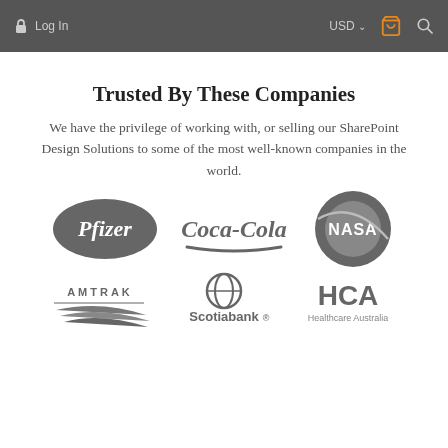Log In  USD  [bag] [search]
Trusted By These Companies
We have the privilege of working with, or selling our SharePoint Design Solutions to some of the most well-known companies in the world.
[Figure (logo): Pfizer logo (grayscale oval)]
[Figure (logo): Coca-Cola logo (grayscale script)]
[Figure (logo): NASA logo (grayscale circular)]
[Figure (logo): Amtrak logo (grayscale)]
[Figure (logo): Scotiabank logo (grayscale)]
[Figure (logo): HCA Healthcare Australia logo (grayscale)]